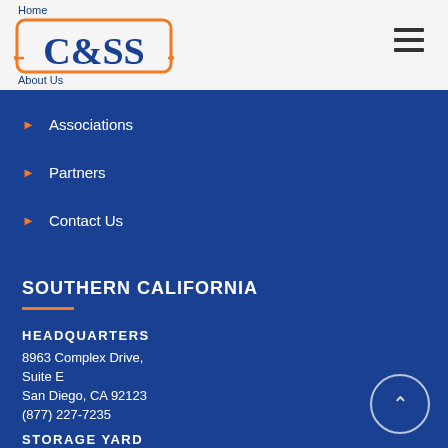Home
[Figure (logo): C&SS company logo with orange border rectangle and orange arrow connectors on left and right sides]
About Us
Associations
Partners
Contact Us
SOUTHERN CALIFORNIA
HEADQUARTERS
8963 Complex Drive,
Suite E
San Diego, CA 92123
(877) 227-7235
STORAGE YARD